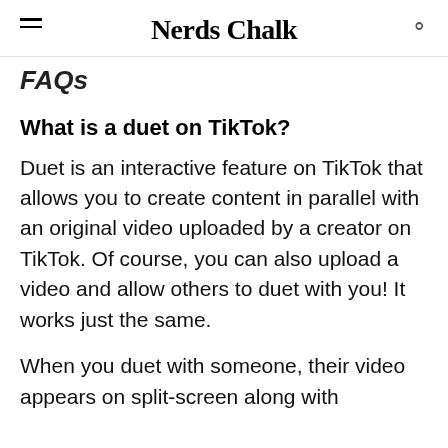Nerds Chalk
FAQs
What is a duet on TikTok?
Duet is an interactive feature on TikTok that allows you to create content in parallel with an original video uploaded by a creator on TikTok. Of course, you can also upload a video and allow others to duet with you! It works just the same.
When you duet with someone, their video appears on split-screen along with